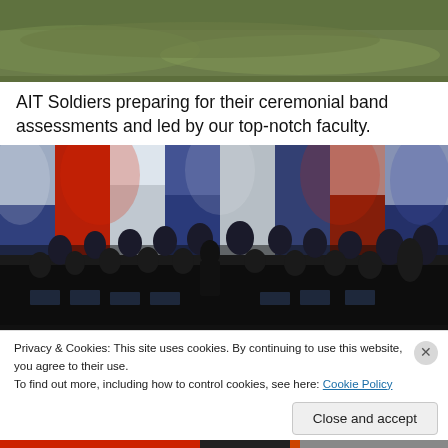[Figure (photo): Top portion of a photo showing green grass/field, partially cropped at top of page]
AIT Soldiers preparing for their ceremonial band assessments and led by our top-notch faculty.
[Figure (photo): Military band performing on stage with red, white, and blue lighting backdrop. Many soldiers in uniform playing various instruments with a conductor in center.]
Privacy & Cookies: This site uses cookies. By continuing to use this website, you agree to their use.
To find out more, including how to control cookies, see here: Cookie Policy
Close and accept